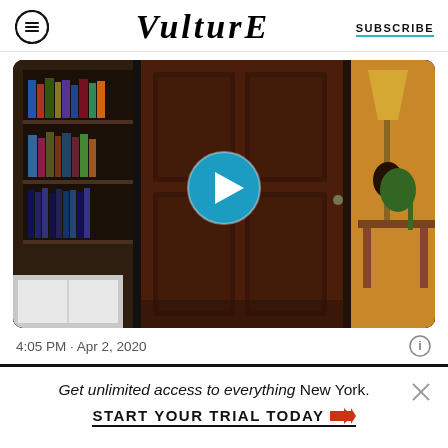VULTURE  SUBSCRIBE
[Figure (screenshot): Video thumbnail showing a dark wooden door in a home interior with a bookshelf visible on the left and a lamp/table on the right. A blue circular play button is centered on the image.]
4:05 PM · Apr 2, 2020
Get unlimited access to everything New York.
START YOUR TRIAL TODAY ➜➜